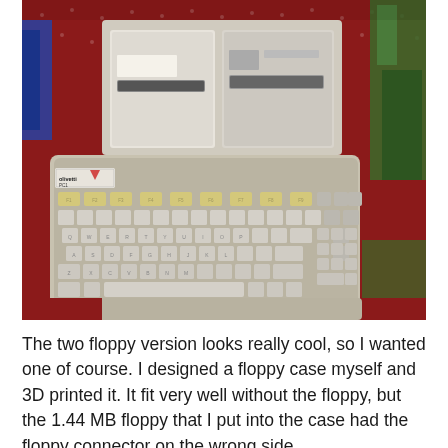[Figure (photo): A vintage Olivetti PC1 personal computer with integrated keyboard and two floppy disk drives on top, sitting on a red floral tablecloth. The keyboard has cream/beige colored keys with yellow function keys along the top row.]
The two floppy version looks really cool, so I wanted one of course. I designed a floppy case myself and 3D printed it. It fit very well without the floppy, but the 1.44 MB floppy that I put into the case had the floppy connector on the wrong side